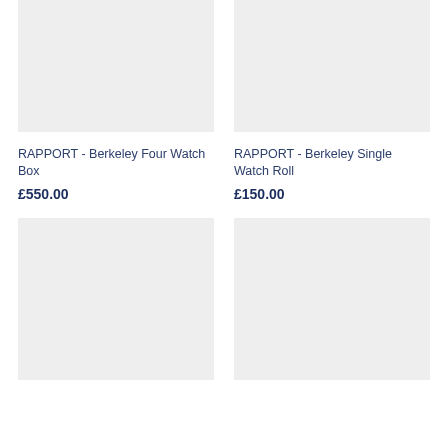[Figure (photo): Product image placeholder for RAPPORT Berkeley Four Watch Box, light grey background]
RAPPORT - Berkeley Four Watch Box
£550.00
[Figure (photo): Product image placeholder for RAPPORT Berkeley Single Watch Roll, light grey background]
RAPPORT - Berkeley Single Watch Roll
£150.00
[Figure (photo): Product image placeholder bottom left, light grey background]
[Figure (photo): Product image placeholder bottom right, light grey background]